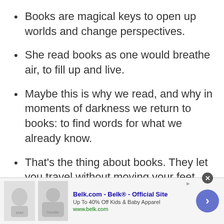Books are magical keys to open up worlds and change perspectives.
She read books as one would breathe air, to fill up and live.
Maybe this is why we read, and why in moments of darkness we return to books: to find words for what we already know.
That's the thing about books. They let you travel without moving your feet.
[Figure (screenshot): Advertisement banner for Belk.com - Belk® - Official Site. Up To 40% Off Kids & Baby Apparel. www.belk.com. Shows two clothing product images, a close button, and a navigation arrow.]